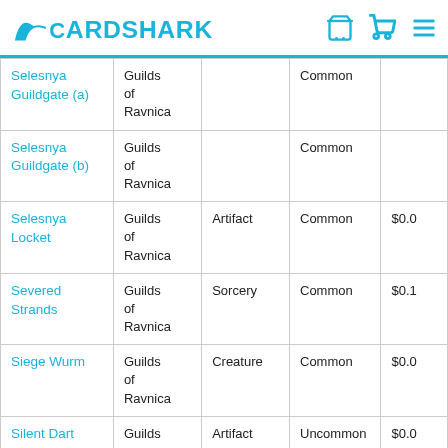CardShark
| Card Name | Set | Type | Rarity | Price |
| --- | --- | --- | --- | --- |
| Selesnya Guildgate (a) | Guilds of Ravnica |  | Common |  |
| Selesnya Guildgate (b) | Guilds of Ravnica |  | Common |  |
| Selesnya Locket | Guilds of Ravnica | Artifact | Common | $0.0 |
| Severed Strands | Guilds of Ravnica | Sorcery | Common | $0.1 |
| Siege Wurm | Guilds of Ravnica | Creature | Common | $0.0 |
| Silent Dart | Guilds | Artifact | Uncommon | $0.0 |